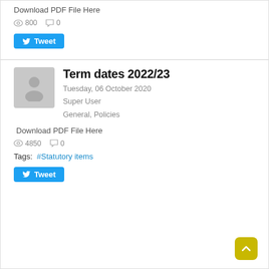Download PDF File Here
👁 800   💬 0
Tweet
Term dates 2022/23
Tuesday, 06 October 2020
Super User
General, Policies
Download PDF File Here
👁 4850   💬 0
Tags: #Statutory items
Tweet